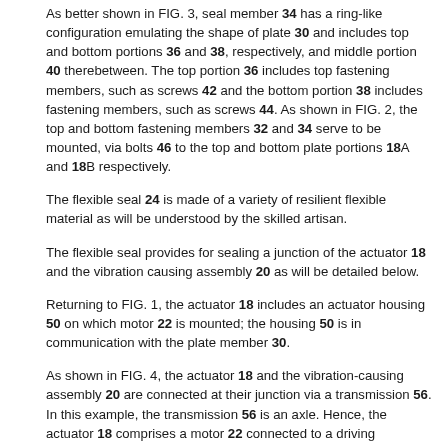As better shown in FIG. 3, seal member 34 has a ring-like configuration emulating the shape of plate 30 and includes top and bottom portions 36 and 38, respectively, and middle portion 40 therebetween. The top portion 36 includes top fastening members, such as screws 42 and the bottom portion 38 includes fastening members, such as screws 44. As shown in FIG. 2, the top and bottom fastening members 32 and 34 serve to be mounted, via bolts 46 to the top and bottom plate portions 18A and 18B respectively.
The flexible seal 24 is made of a variety of resilient flexible material as will be understood by the skilled artisan.
The flexible seal provides for sealing a junction of the actuator 18 and the vibration causing assembly 20 as will be detailed below.
Returning to FIG. 1, the actuator 18 includes an actuator housing 50 on which motor 22 is mounted; the housing 50 is in communication with the plate member 30.
As shown in FIG. 4, the actuator 18 and the vibration-causing assembly 20 are connected at their junction via a transmission 56. In this example, the transmission 56 is an axle. Hence, the actuator 18 comprises a motor 22 connected to a driving assembly 52; the driving assembly 52 includes a drive shaft 54 and the axle 56 which are in communication. The drive shaft 54 extends within the actuator or shaft housing 50 and is rotatably driven by